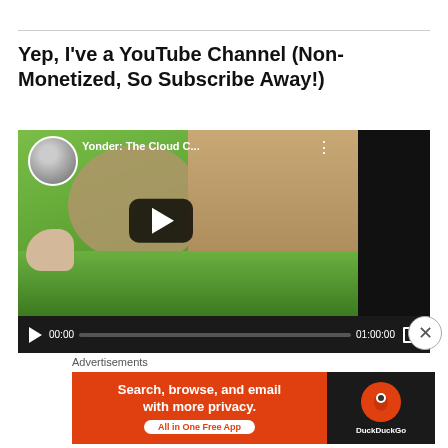Yep, I've a YouTube Channel (Non-Monetized, So Subscribe Away!)
[Figure (screenshot): Embedded YouTube video player showing a game (Yonder: The Cloud C...) with a play button overlay, video controls showing 00:00 / 01:00:00, avatar thumbnail, and dark background.]
Advertisements
[Figure (other): DuckDuckGo advertisement banner: 'Search, browse, and email with more privacy. All in One Free App' on orange background with DuckDuckGo logo on dark right side.]